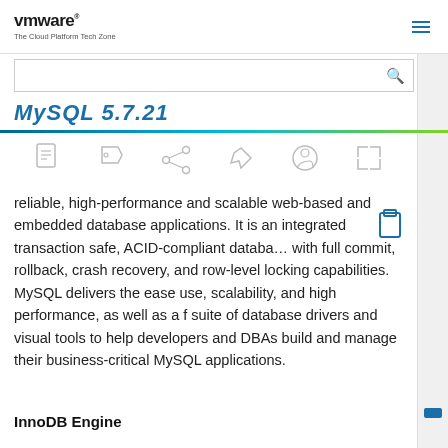vmware The Cloud Platform Tech Zone
MySQL 5.7.21
[Figure (illustration): Row of six toolbar icons: PDF/document, tag/label, share, pin, user/comment, expand]
reliable, high-performance and scalable web-based and embedded database applications. It is an integrated transaction safe, ACID-compliant database with full commit, rollback, crash recovery, and row-level locking capabilities. MySQL delivers the ease use, scalability, and high performance, as well as a full suite of database drivers and visual tools to help developers and DBAs build and manage their business-critical MySQL applications.
InnoDB Engine